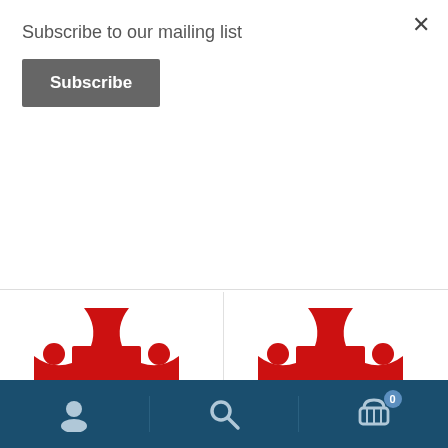Subscribe to our mailing list
Subscribe
[Figure (logo): Red cross pattée with four circles in quadrants — cu-LO logo]
cu-LO
Church Slavonic extensions for LibreOffice Includes Church Slavic
[Figure (logo): Red cross pattée with four circles in quadrants — cu-books logo]
cu-books
Church Slavonic text corpus. This corpus contains Church Slavonic
User icon | Search icon | Cart icon (0)